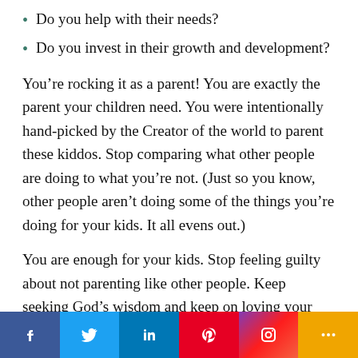Do you help with their needs?
Do you invest in their growth and development?
You’re rocking it as a parent! You are exactly the parent your children need. You were intentionally hand-picked by the Creator of the world to parent these kiddos. Stop comparing what other people are doing to what you’re not. (Just so you know, other people aren’t doing some of the things you’re doing for your kids. It all evens out.)
You are enough for your kids. Stop feeling guilty about not parenting like other people. Keep seeking God’s wisdom and keep on loving your children in your own unique way. You’ve got this!